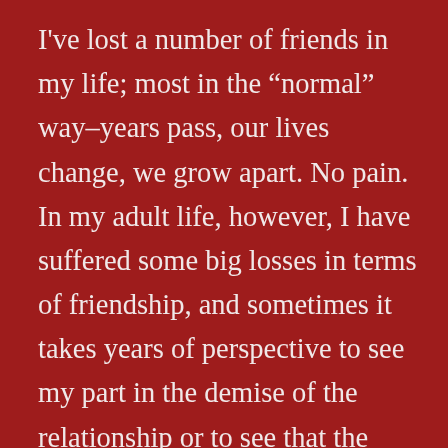I've lost a number of friends in my life; most in the “normal” way–years pass, our lives change, we grow apart. No pain. In my adult life, however, I have suffered some big losses in terms of friendship, and sometimes it takes years of perspective to see my part in the demise of the relationship or to see that the relationship was not a good one to begin with. Over time, as these endings have added up, I am convinced that I must be doing something terrible to my friends, or that I am just a very difficult person,